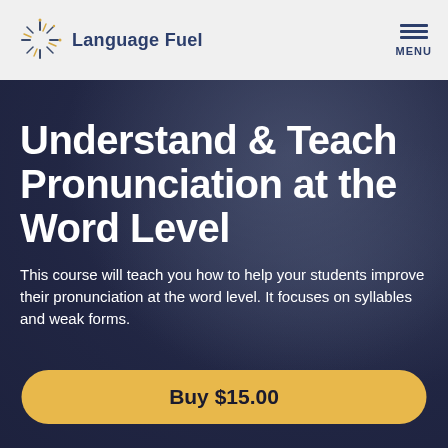[Figure (logo): Language Fuel logo with starburst/sparkle icon and text 'Language Fuel']
Understand & Teach Pronunciation at the Word Level
This course will teach you how to help your students improve their pronunciation at the word level. It focuses on syllables and weak forms.
Buy $15.00